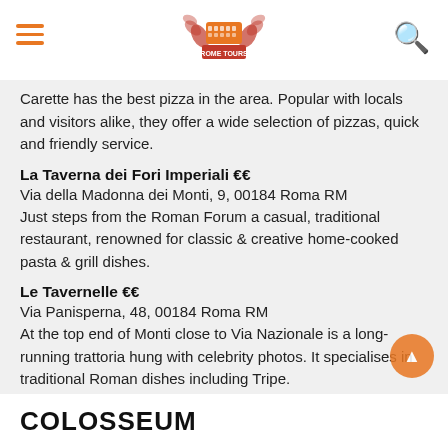ROME TOURS (logo)
Carette has the best pizza in the area. Popular with locals and visitors alike, they offer a wide selection of pizzas, quick and friendly service.
La Taverna dei Fori Imperiali €€
Via della Madonna dei Monti, 9, 00184 Roma RM
Just steps from the Roman Forum a casual, traditional restaurant, renowned for classic & creative home-cooked pasta & grill dishes.
Le Tavernelle €€
Via Panisperna, 48, 00184 Roma RM
At the top end of Monti close to Via Nazionale is a long-running trattoria hung with celebrity photos. It specialises in traditional Roman dishes including Tripe.
COLOSSEUM